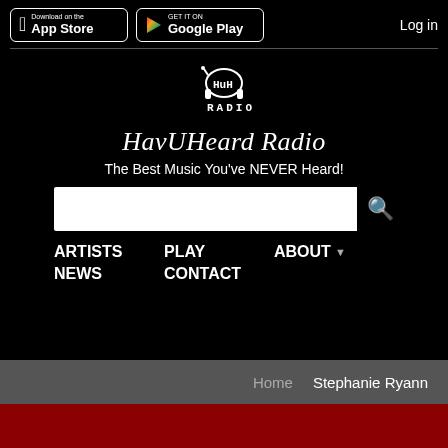[Figure (logo): App Store download button]
[Figure (logo): Google Play download button]
Log in
[Figure (logo): HuH Radio logo with stylized text and headphone icon]
HavUHeard Radio
The Best Music You've NEVER Heard!
[Figure (other): Search input field with magnifying glass icon]
ARTISTS
PLAY
ABOUT
NEWS
CONTACT
Home
Stephanie Ryann